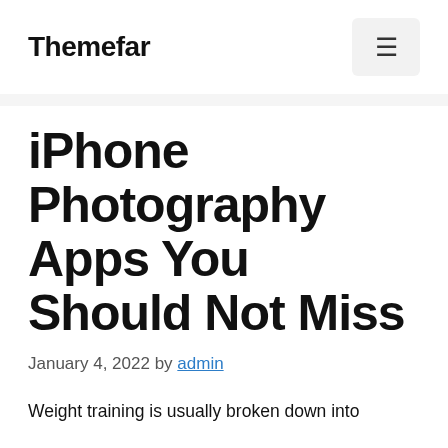Themefar
iPhone Photography Apps You Should Not Miss
January 4, 2022 by admin
Weight training is usually broken down into